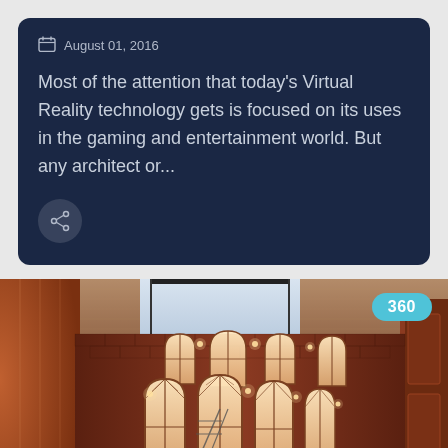August 01, 2016
Most of the attention that today's Virtual Reality technology gets is focused on its uses in the gaming and entertainment world. But any architect or...
[Figure (photo): Interior architectural rendering of a large hall with brick walls, arched windows, high ceiling with skylights, and a spiral staircase. A '360' badge appears in the top right corner.]